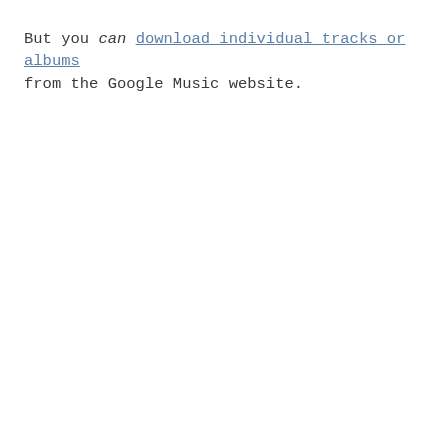But you can download individual tracks or albums from the Google Music website.